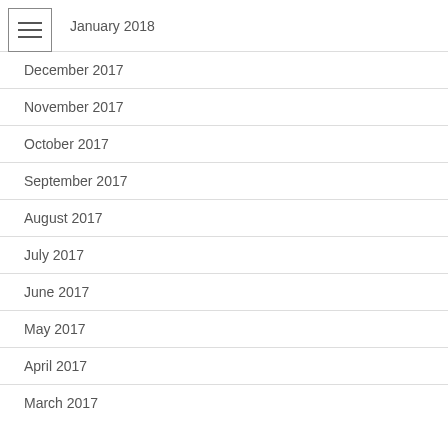January 2018
December 2017
November 2017
October 2017
September 2017
August 2017
July 2017
June 2017
May 2017
April 2017
March 2017